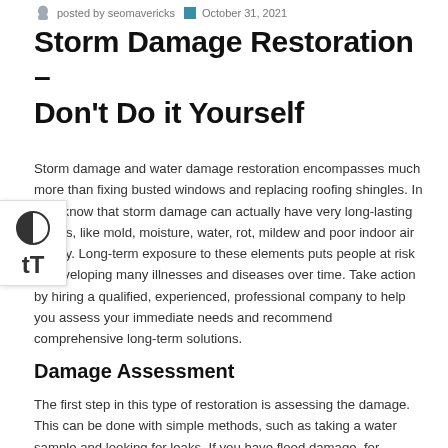posted by seomavericks   October 31, 2021
Storm Damage Restoration – Don't Do it Yourself
Storm damage and water damage restoration encompasses much more than fixing busted windows and replacing roofing shingles. In fact, know that storm damage can actually have very long-lasting effects, like mold, moisture, water, rot, mildew and poor indoor air quality. Long-term exposure to these elements puts people at risk of developing many illnesses and diseases over time. Take action by hiring a qualified, experienced, professional company to help you assess your immediate needs and recommend comprehensive long-term solutions.
Damage Assessment
The first step in this type of restoration is assessing the damage. This can be done with simple methods, such as taking a water sample and looking for leaks. If you have flood damage, for